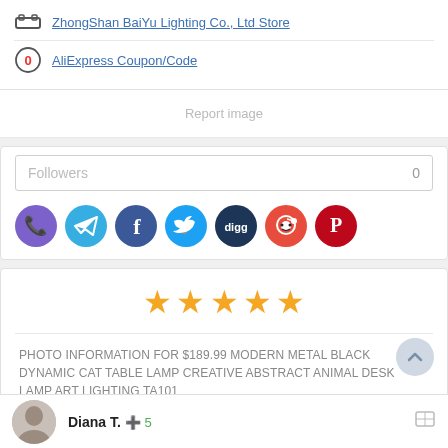ZhongShan BaiYu Lighting Co., Ltd Store
AliExpress Coupon/Code
Report image
Followers  0
[Figure (infographic): Row of 7 social media share icons: Viber (purple), Telegram (blue), Facebook (dark blue), Twitter (light blue), Digg (dark blue), Reddit (orange-red), Pinterest (dark red)]
[Figure (infographic): Five orange star rating icons indicating 5-star review]
PHOTO INFORMATION FOR $189.99 MODERN METAL BLACK DYNAMIC CAT TABLE LAMP CREATIVE ABSTRACT ANIMAL DESK LAMP ART LIGHTING TA101
View photo EXIF information
Diana T.  +5